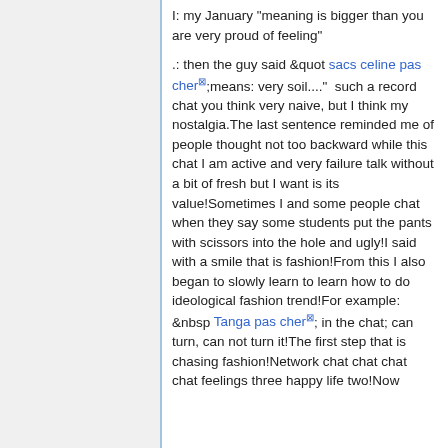I: my January "meaning is bigger than you are very proud of feeling"
.: then the guy said &quot sacs celine pas cher;means: very soil...."  such a record chat you think very naive, but I think my nostalgia.The last sentence reminded me of people thought not too backward while this chat I am active and very failure talk without a bit of fresh but I want is its value!Sometimes I and some people chat when they say some students put the pants with scissors into the hole and ugly!I said with a smile that is fashion!From this I also began to slowly learn to learn how to do ideological fashion trend!For example: &nbsp Tanga pas cher; in the chat; can turn, can not turn it!The first step that is chasing fashion!Network chat chat chat chat feelings three happy life two!Now...